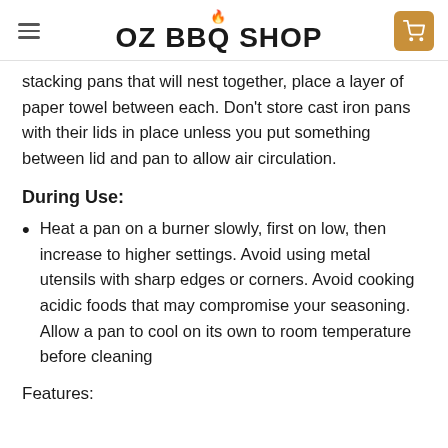OZ BBQ SHOP
stacking pans that will nest together, place a layer of paper towel between each. Don’t store cast iron pans with their lids in place unless you put something between lid and pan to allow air circulation.
During Use:
Heat a pan on a burner slowly, first on low, then increase to higher settings. Avoid using metal utensils with sharp edges or corners. Avoid cooking acidic foods that may compromise your seasoning. Allow a pan to cool on its own to room temperature before cleaning
Features: